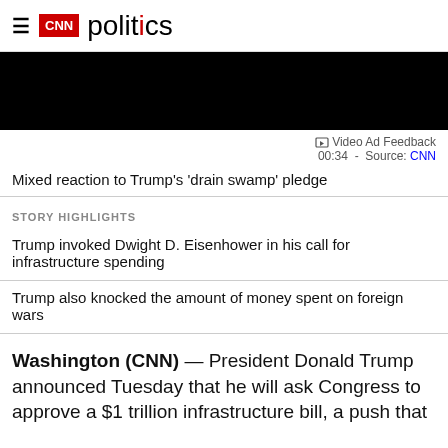CNN politics
[Figure (other): Black video player area]
Video Ad Feedback
00:34 - Source: CNN
Mixed reaction to Trump's 'drain swamp' pledge
STORY HIGHLIGHTS
Trump invoked Dwight D. Eisenhower in his call for infrastructure spending
Trump also knocked the amount of money spent on foreign wars
Washington (CNN) — President Donald Trump announced Tuesday that he will ask Congress to approve a $1 trillion infrastructure bill, a push that